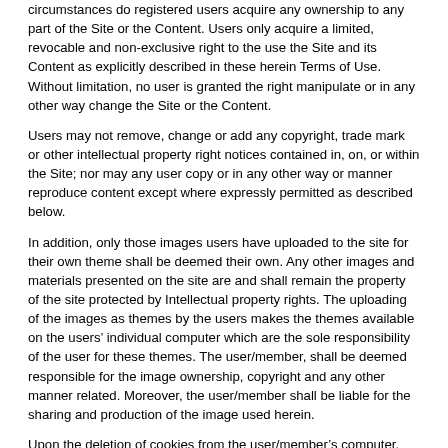circumstances do registered users acquire any ownership to any part of the Site or the Content. Users only acquire a limited, revocable and non-exclusive right to the use the Site and its Content as explicitly described in these herein Terms of Use. Without limitation, no user is granted the right manipulate or in any other way change the Site or the Content.
Users may not remove, change or add any copyright, trade mark or other intellectual property right notices contained in, on, or within the Site; nor may any user copy or in any other way or manner reproduce content except where expressly permitted as described below.
In addition, only those images users have uploaded to the site for their own theme shall be deemed their own. Any other images and materials presented on the site are and shall remain the property of the site protected by Intellectual property rights. The uploading of the images as themes by the users makes the themes available on the users’ individual computer which are the sole responsibility of the user for these themes. The user/member, shall be deemed responsible for the image ownership, copyright and any other manner related. Moreover, the user/member shall be liable for the sharing and production of the image used herein.
Upon the deletion of cookies from the user/member’s computer, the last launched theme shall be automatically removed and the theme shall revert back to its default theme.
The site bears no responsibility or liability for uploads made by any of its users/members at anytime neither for the content or any possible copyright infringements which may later be involved.
Allowed use of the Site and the Content